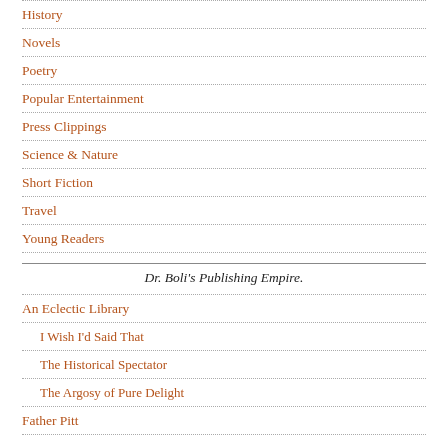History
Novels
Poetry
Popular Entertainment
Press Clippings
Science & Nature
Short Fiction
Travel
Young Readers
Dr. Boli's Publishing Empire.
An Eclectic Library
I Wish I'd Said That
The Historical Spectator
The Argosy of Pure Delight
Father Pitt